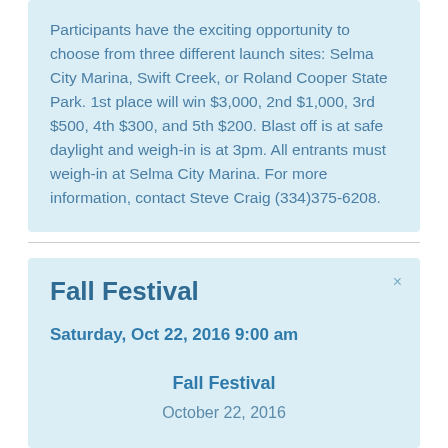Participants have the exciting opportunity to choose from three different launch sites: Selma City Marina, Swift Creek, or Roland Cooper State Park. 1st place will win $3,000, 2nd $1,000, 3rd $500, 4th $300, and 5th $200. Blast off is at safe daylight and weigh-in is at 3pm. All entrants must weigh-in at Selma City Marina. For more information, contact Steve Craig (334)375-6208.
Fall Festival
Saturday, Oct 22, 2016 9:00 am
Fall Festival
October 22, 2016